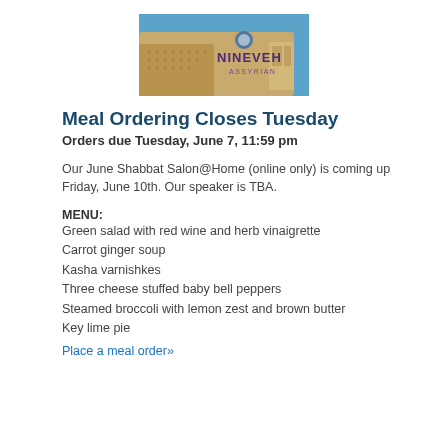[Figure (photo): Photo of a Nineveh Assyrian food truck/bus with the text NINEVEH ASSYRIAN on its side, against a blue sky background.]
Meal Ordering Closes Tuesday
Orders due Tuesday, June 7, 11:59 pm
Our June Shabbat Salon@Home (online only) is coming up Friday, June 10th. Our speaker is TBA.
MENU:
Green salad with red wine and herb vinaigrette
Carrot ginger soup
Kasha varnishkes
Three cheese stuffed baby bell peppers
Steamed broccoli with lemon zest and brown butter
Key lime pie
Place a meal order»